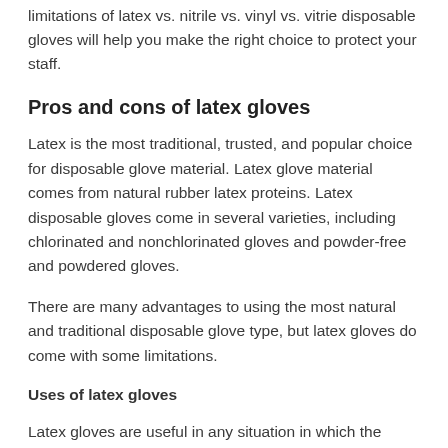limitations of latex vs. nitrile vs. vinyl vs. vitrie disposable gloves will help you make the right choice to protect your staff.
Pros and cons of latex gloves
Latex is the most traditional, trusted, and popular choice for disposable glove material. Latex glove material comes from natural rubber latex proteins. Latex disposable gloves come in several varieties, including chlorinated and nonchlorinated gloves and powder-free and powdered gloves.
There are many advantages to using the most natural and traditional disposable glove type, but latex gloves do come with some limitations.
Uses of latex gloves
Latex gloves are useful in any situation in which the